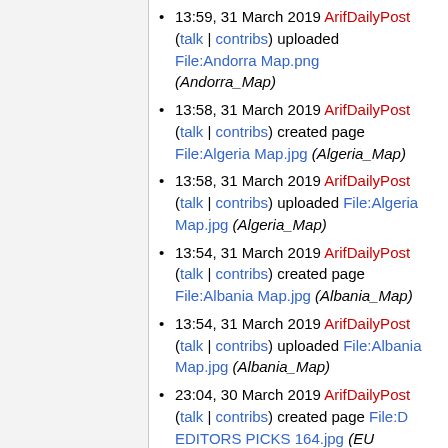13:59, 31 March 2019 ArifDailyPost (talk | contribs) uploaded File:Andorra Map.png (Andorra_Map)
13:58, 31 March 2019 ArifDailyPost (talk | contribs) created page File:Algeria Map.jpg (Algeria_Map)
13:58, 31 March 2019 ArifDailyPost (talk | contribs) uploaded File:Algeria Map.jpg (Algeria_Map)
13:54, 31 March 2019 ArifDailyPost (talk | contribs) created page File:Albania Map.jpg (Albania_Map)
13:54, 31 March 2019 ArifDailyPost (talk | contribs) uploaded File:Albania Map.jpg (Albania_Map)
23:04, 30 March 2019 ArifDailyPost (talk | contribs) created page File:D EDITORS PICKS 164.jpg (EU parliament votes to ban single-use